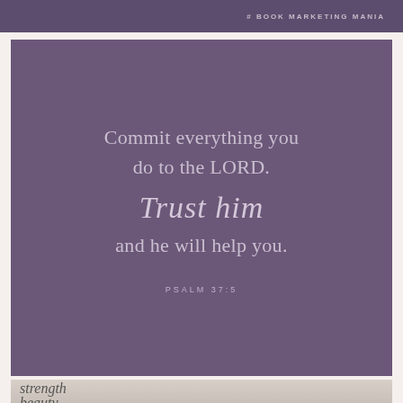# BOOK MARKETING MANIA
[Figure (illustration): Purple square card with Bible verse quote text: 'Commit everything you do to the LORD. Trust him and he will help you.' with reference PSALM 37:5]
[Figure (photo): Bottom portion of a photo showing calligraphy text with words 'strength' and 'beauty' visible, with a decorative object in background]